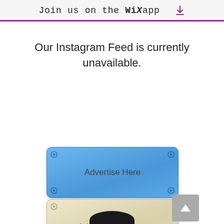Join us on the WiX app ⬇
Our Instagram Feed is currently unavailable.
[Figure (other): Blue advertisement banner with corner screw icons and text 'Advertise Here']
[Figure (other): Cream/beige advertisement banner with corner screw icons and text 'Advertise Here', with a back-to-top button overlapping the top-right corner]
[Figure (other): Partial dark circular shape at the bottom of the page, likely a navigation element]